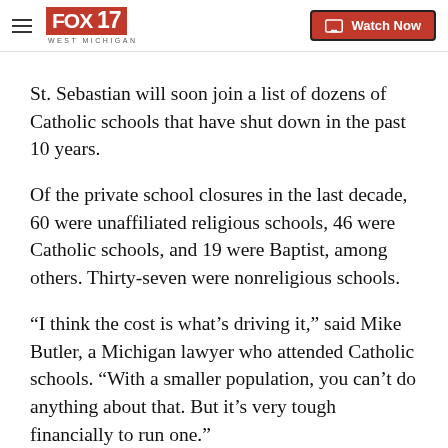FOX 17 WEST MICHIGAN — Watch Now
St. Sebastian will soon join a list of dozens of Catholic schools that have shut down in the past 10 years.
Of the private school closures in the last decade, 60 were unaffiliated religious schools, 46 were Catholic schools, and 19 were Baptist, among others. Thirty-seven were nonreligious schools.
“I think the cost is what’s driving it,” said Mike Butler, a Michigan lawyer who attended Catholic schools. “With a smaller population, you can’t do anything about that. But it’s very tough financially to run one.”